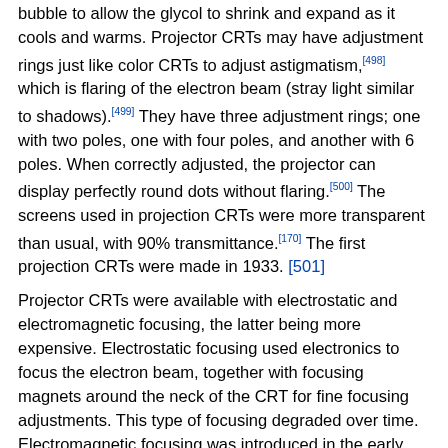bubble to allow the glycol to shrink and expand as it cools and warms. Projector CRTs may have adjustment rings just like color CRTs to adjust astigmatism,[498] which is flaring of the electron beam (stray light similar to shadows).[499] They have three adjustment rings; one with two poles, one with four poles, and another with 6 poles. When correctly adjusted, the projector can display perfectly round dots without flaring.[500] The screens used in projection CRTs were more transparent than usual, with 90% transmittance.[170] The first projection CRTs were made in 1933.[501]
Projector CRTs were available with electrostatic and electromagnetic focusing, the latter being more expensive. Electrostatic focusing used electronics to focus the electron beam, together with focusing magnets around the neck of the CRT for fine focusing adjustments. This type of focusing degraded over time. Electromagnetic focusing was introduced in the early 1990s and included an electromagnetic focusing coil in addition to the already existing focusing magnets. Electromagnetic focusing was much more stable over the lifetime of the CRT, retaining 95% of its sharpness by the end of life of the CRT.[502]
Beam-index tube
Beam-index tubes are a type of CRT that...